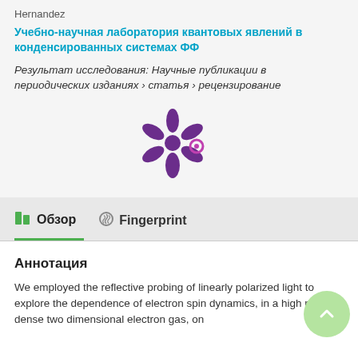Hernandez
Учебно-научная лаборатория квантовых явлений в конденсированных системах ФФ
Результат исследования: Научные публикации в периодических изданиях › статья › рецензирование
[Figure (logo): Mendeley/research platform star-shaped logo in purple with a small circle accent]
Обзор
Fingerprint
Аннотация
We employed the reflective probing of linearly polarized light to explore the dependence of electron spin dynamics, in a high mobility dense two dimensional electron gas, on